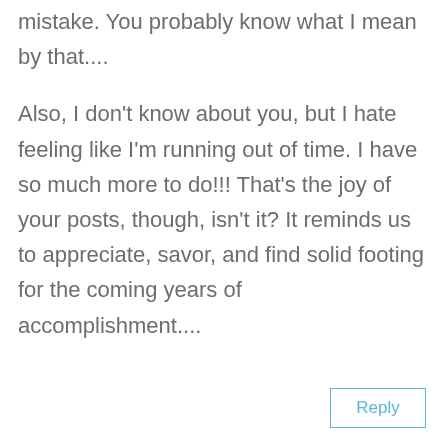mistake. You probably know what I mean by that....
Also, I don't know about you, but I hate feeling like I'm running out of time. I have so much more to do!!! That's the joy of your posts, though, isn't it? It reminds us to appreciate, savor, and find solid footing for the coming years of accomplishment....